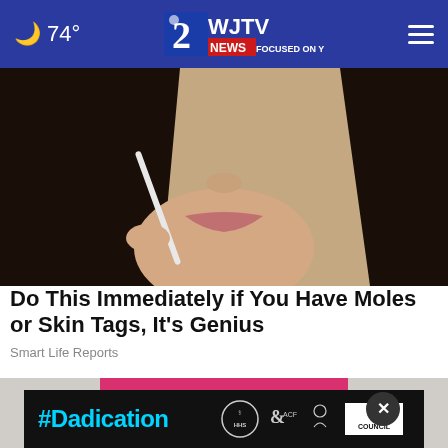🌙 74° | WJTV News Channel 12 — Focused On You | ☰
[Figure (photo): Close-up photo of a woman with dark hair holding a white applicator or tool near her mouth/nose area, with a neutral background.]
Do This Immediately if You Have Moles or Skin Tags, It's Genius
Smart Life Reports
[Figure (photo): Photo of a woman wearing a pink/magenta top and jeans, cropped to show torso area.]
[Figure (infographic): #Dadication ad banner with CDC, ACF, and Ad Council logos on a dark/black background.]